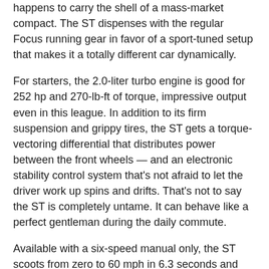happens to carry the shell of a mass-market compact. The ST dispenses with the regular Focus running gear in favor of a sport-tuned setup that makes it a totally different car dynamically.
For starters, the 2.0-liter turbo engine is good for 252 hp and 270-lb-ft of torque, impressive output even in this league. In addition to its firm suspension and grippy tires, the ST gets a torque-vectoring differential that distributes power between the front wheels — and an electronic stability control system that's not afraid to let the driver work up spins and drifts. That's not to say the ST is completely untame. It can behave like a perfect gentleman during the daily commute.
Available with a six-speed manual only, the ST scoots from zero to 60 mph in 6.3 seconds and delivers 25 mpg in combined driving.
What's the Difference?